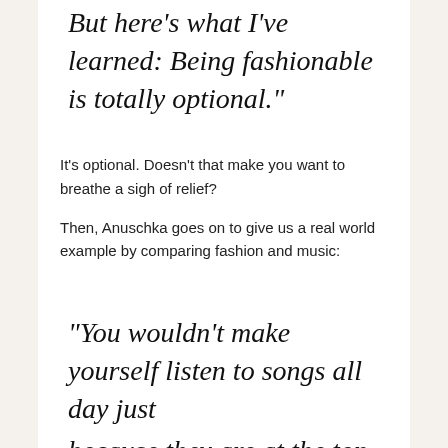But here’s what I’ve learned: Being fashionable is totally optional.”
It’s optional. Doesn’t that make you want to breathe a sigh of relief?
Then, Anuschka goes on to give us a real world example by comparing fashion and music:
“You wouldn’t make yourself listen to songs all day just because they are at the top of